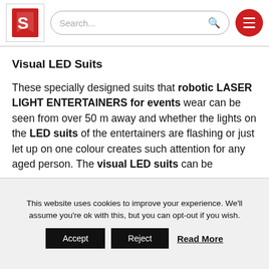Navigation bar with logo, search field, and menu button
Visual LED Suits
These specially designed suits that robotic LASER LIGHT ENTERTAINERS for events wear can be seen from over 50 m away and whether the lights on the LED suits of the entertainers are flashing or just let up on one colour creates such attention for any aged person. The visual LED suits can be
This website uses cookies to improve your experience. We'll assume you're ok with this, but you can opt-out if you wish. Accept Reject Read More